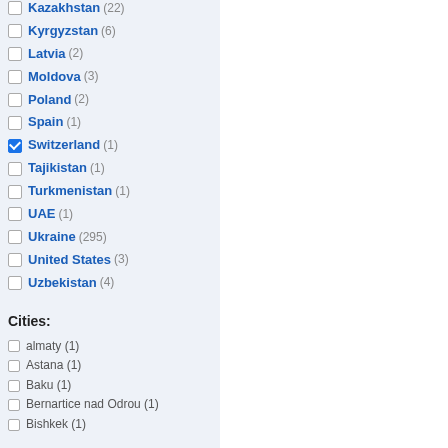Kazakhstan (22)
Kyrgyzstan (6)
Latvia (2)
Moldova (3)
Poland (2)
Spain (1)
Switzerland (1) [checked]
Tajikistan (1)
Turkmenistan (1)
UAE (1)
Ukraine (295)
United States (3)
Uzbekistan (4)
Cities:
almaty (1)
Astana (1)
Baku (1)
Bernartice nad Odrou (1)
Bishkek (1)